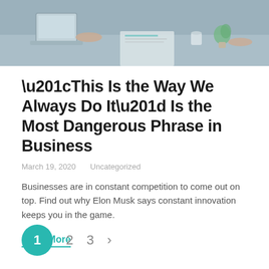[Figure (photo): Office desk scene with people working, laptop, documents, and a small plant visible]
“This Is the Way We Always Do It” Is the Most Dangerous Phrase in Business
March 19, 2020    Uncategorized
Businesses are in constant competition to come out on top. Find out why Elon Musk says constant innovation keeps you in the game.
Read More
1  2  3  >